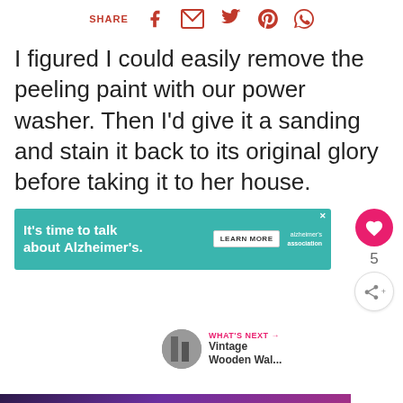SHARE (social icons: Facebook, Email, Twitter, Pinterest, WhatsApp)
I figured I could easily remove the peeling paint with our power washer. Then I'd give it a sanding and stain it back to its original glory before taking it to her house.
[Figure (screenshot): Advertisement banner: teal background, text 'It’s time to talk about Alzheimer’s.' with 'LEARN MORE' button and Alzheimer's Association logo]
[Figure (screenshot): What's Next sidebar: circular thumbnail of wooden wall, label 'WHAT'S NEXT →', title 'Vintage Wooden Wal...']
[Figure (screenshot): Bottom advertisement banner with purple-pink gradient, text 'let’s show it some love' with heart icon, and close button with stylized W logo]